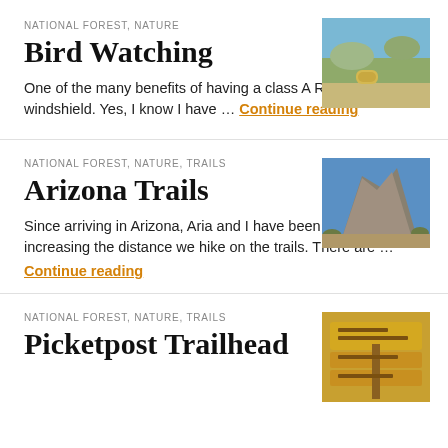NATIONAL FOREST, NATURE
Bird Watching
[Figure (photo): Landscape photo with hills and a bale of hay under blue sky]
One of the many benefits of having a class A RV is the huge windshield. Yes, I know I have … Continue reading
NATIONAL FOREST, NATURE, TRAILS
Arizona Trails
[Figure (photo): Rocky mountain cliff with desert vegetation under blue sky]
Since arriving in Arizona, Aria and I have been slowly increasing the distance we hike on the trails. There are … Continue reading
NATIONAL FOREST, NATURE, TRAILS
Picketpost Trailhead
[Figure (photo): Wooden trail sign reading Picketpost Trailhead, Forest Road, McLeod Road]